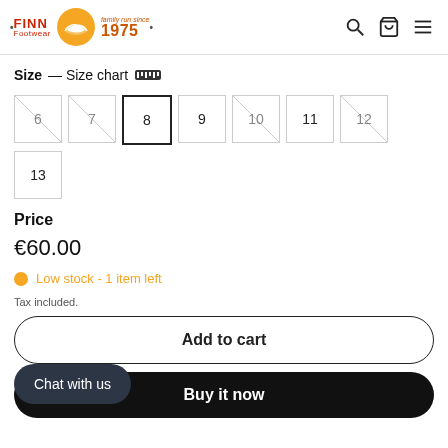FINN Footwear — family run since 1975
Size — Size chart
6 7 8 9 10 11 12 13 (size options, 8 selected)
Price
€60.00
Low stock - 1 item left
Tax included.
Add to cart
Chat with us
Buy it now